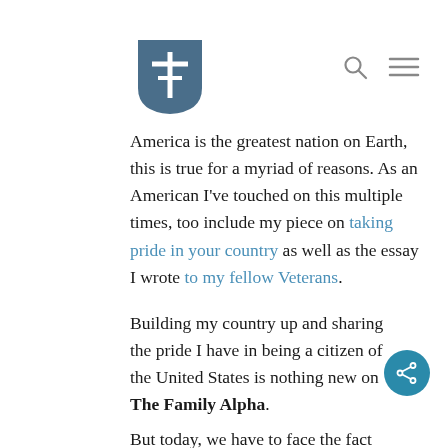[Figure (logo): Shield-shaped logo with white stylized tree/cross symbol on blue-gray background, representing The Family Alpha website]
America is the greatest nation on Earth, this is true for a myriad of reasons. As an American I've touched on this multiple times, too include my piece on taking pride in your country as well as the essay I wrote to my fellow Veterans.
Building my country up and sharing the pride I have in being a citizen of the United States is nothing new on The Family Alpha.
But today, we have to face the fact